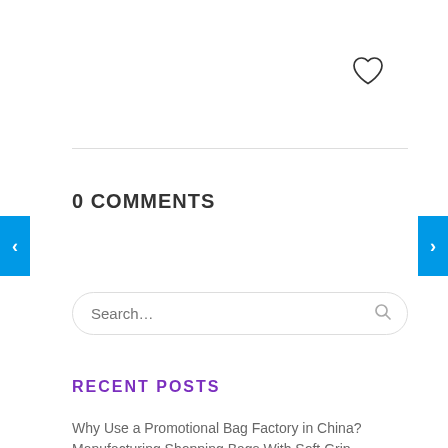[Figure (illustration): Heart outline icon in the upper right area]
0 COMMENTS
[Figure (illustration): Left blue navigation arrow button]
[Figure (illustration): Right blue navigation arrow button]
Search...
RECENT POSTS
Why Use a Promotional Bag Factory in China? Manufacturing Shopping Bags With Soft Grip